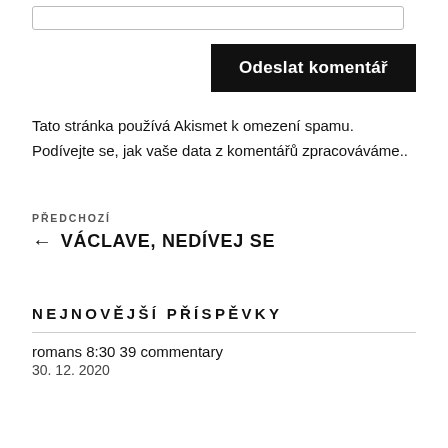[Figure (other): Input text field (partially visible at top)]
Odeslat komentář
Tato stránka používá Akismet k omezení spamu. Podívejte se, jak vaše data z komentářů zpracováváme..
PŘEDCHOZÍ
← VÁCLAVE, NEDÍVEJ SE
NEJNOVĚJŠÍ PŘÍSPĚVKY
romans 8:30 39 commentary
30. 12. 2020